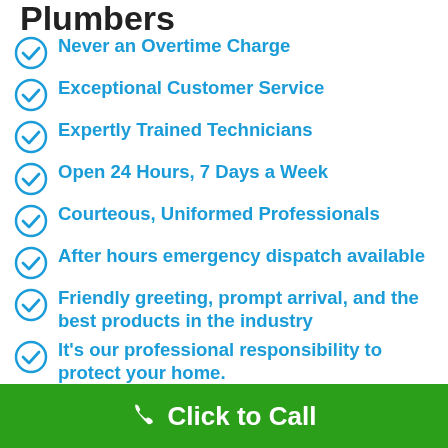Plumbers
Never an Overtime Charge
Exceptional Customer Service
Expertly Trained Technicians
Open 24 Hours, 7 Days a Week
Courteous, Uniformed Professionals
After hours emergency dispatch available
Friendly greeting, prompt arrival, and the best products in the industry
It's our professional responsibility to protect your home.
When you work with us, you can be confident that your problem will be resolved on time and at a price
Click to Call